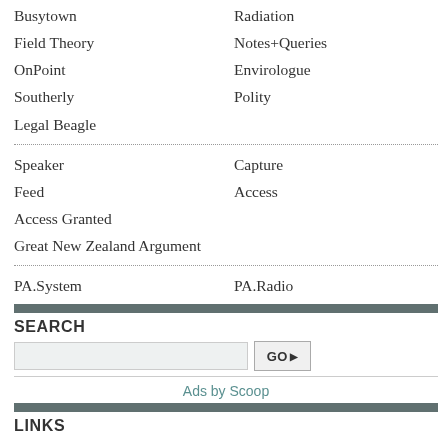Busytown
Radiation
Field Theory
Notes+Queries
OnPoint
Envirologue
Southerly
Polity
Legal Beagle
Speaker
Capture
Feed
Access
Access Granted
Great New Zealand Argument
PA.System
PA.Radio
SEARCH
Ads by Scoop
LINKS
About Hard News
Join Mailing List
Scoop